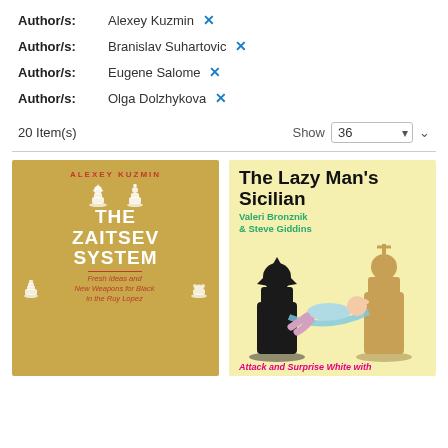Author/s: Alexey Kuzmin ✕
Author/s: Branislav Suhartovic ✕
Author/s: Eugene Salome ✕
Author/s: Olga Dolzhykova ✕
20 Item(s)    Show 36
[Figure (photo): Book cover: The Zaitsev System by Alexey Kuzmin. Gold background with chess pieces and red/white text. Subtitle: Fresh Ideas and New Weapons for Black in the Ruy Lopez.]
[Figure (photo): Book cover: The Lazy Man's Sicilian by Valeri Bronznik & Steve Giddins. Yellow background with cartoon illustration of person in hammock between chess pieces. Pink text at bottom: Attack and Surprise White with]